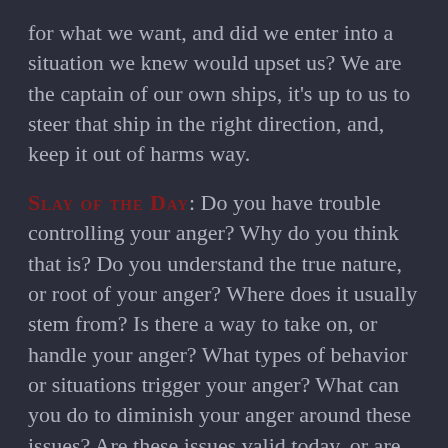for what we want, and did we enter into a situation we knew would upset us? We are the captain of our own ships, it's up to us to steer that ship in the right direction, and, keep it out of harms way.
SLAY OF THE DAY: Do you have trouble controlling your anger? Why do you think that is? Do you understand the true nature, or root of your anger? Where does it usually stem from? Is there a way to take on, or handle your anger? What types of behavior or situations trigger your anger? What can you do to diminish your anger around these issues? Are these issues valid today, or are they old ideas and things from our past? Does this anger serve you today? How in